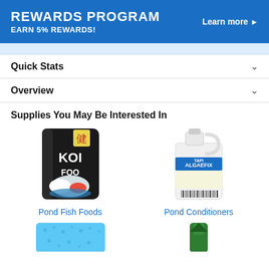[Figure (infographic): Blue banner advertising a Rewards Program with text 'REWARDS PROGRAM EARN 5% REWARDS!' and 'Learn more >' on the right]
Quick Stats
Overview
Supplies You May Be Interested In
[Figure (photo): Bag of Koi Fish Food with koi fish image]
Pond Fish Foods
[Figure (photo): Jug of API AlgaeFix Pond Conditioner]
Pond Conditioners
[Figure (photo): Blue sponge filter media (partially visible at bottom)]
[Figure (photo): Green pond product (partially visible at bottom)]